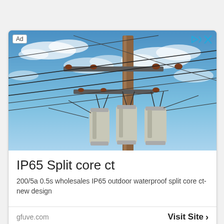[Figure (photo): Photograph of a utility power pole with transformers and electrical wires against a blue sky with clouds. The pole has multiple cross-arms with insulators and three cylindrical transformers mounted near the top.]
IP65 Split core ct
200/5a 0.5s wholesales IP65 outdoor waterproof split core ct-new design
gfuve.com
Visit Site >